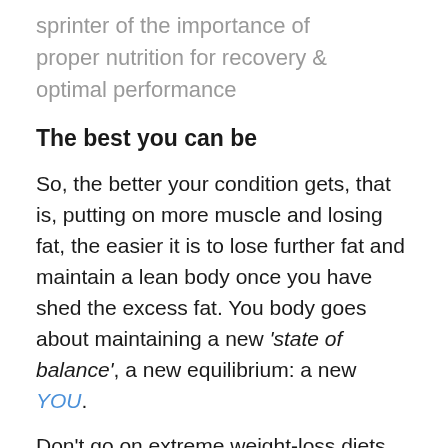sprinter of the importance of proper nutrition for recovery & optimal performance
The best you can be
So, the better your condition gets, that is, putting on more muscle and losing fat, the easier it is to lose further fat and maintain a lean body once you have shed the excess fat. You body goes about maintaining a new 'state of balance', a new equilibrium: a new YOU.
Don't go on extreme weight-loss diets, don't fast to lose weight and don't go on a fad diet and we have had many come and go over the years. When you limit your food intake extremely without proper resistance exercise, your body will respond by slowing your metabolism or 'engine room' and this makes fat loss more difficult and fat gain